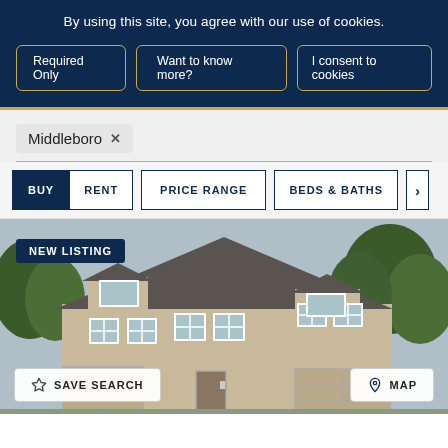By using this site, you agree with our use of cookies.
Required Only
Want to know more?
I consent to cookies
Middleboro  ×
BUY   RENT   PRICE RANGE   BEDS & BATHS   >
[Figure (photo): Exterior photo of a large two-story beige/tan colonial-style house with dark gray roof, multiple windows, attached garage, and trees in background. A 'NEW LISTING' badge overlay is shown in the top left corner. 'SAVE SEARCH' and 'MAP' buttons appear at the bottom.]